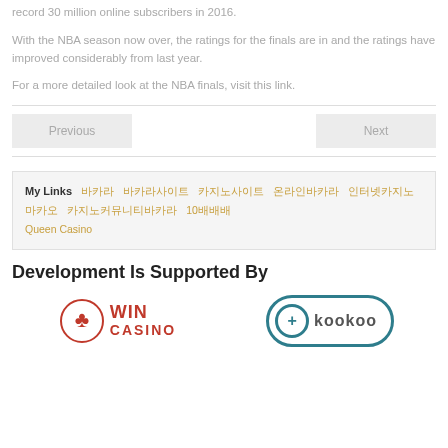record 30 million online subscribers in 2016.
With the NBA season now over, the ratings for the finals are in and the ratings have improved considerably from last year.
For a more detailed look at the NBA finals, visit this link.
My Links  [links in Korean and Japanese characters]  10배배배  Queen Casino
Development Is Supported By
[Figure (logo): WIN CASINO logo with red text and club/spade icon]
[Figure (logo): kookoo logo with teal border and plus icon]